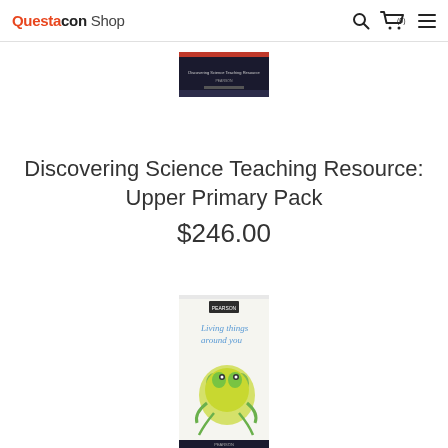Questacon Shop
[Figure (photo): Top portion of a book cover with dark background and Pearson branding]
Discovering Science Teaching Resource: Upper Primary Pack
$246.00
[Figure (photo): Book cover titled 'Living things around you' featuring an illustrated frog on a light background, Pearson branding at bottom]